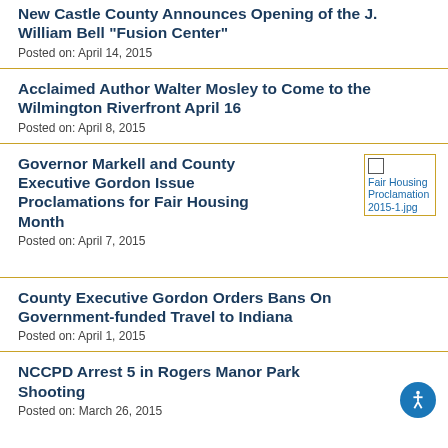New Castle County Announces Opening of the J. William Bell “Fusion Center”
Posted on: April 14, 2015
Acclaimed Author Walter Mosley to Come to the Wilmington Riverfront April 16
Posted on: April 8, 2015
Governor Markell and County Executive Gordon Issue Proclamations for Fair Housing Month
[Figure (photo): Fair Housing Proclamation 2015-1.jpg thumbnail with yellow border]
Posted on: April 7, 2015
County Executive Gordon Orders Bans On Government-funded Travel to Indiana
Posted on: April 1, 2015
NCCPD Arrest 5 in Rogers Manor Park Shooting
Posted on: March 26, 2015